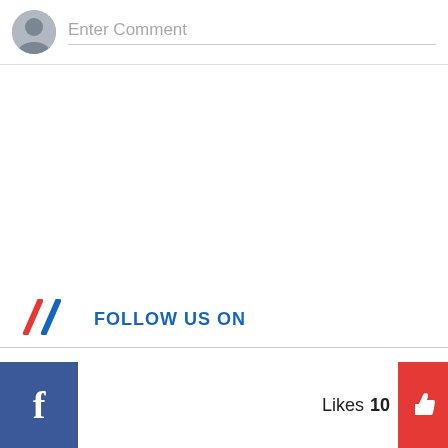[Figure (illustration): Comment input bar with circular user avatar icon on the left and 'Enter Comment' placeholder text with a bottom border line]
FOLLOW US ON
[Figure (illustration): Facebook social media bar with blue Facebook 'f' icon button on the left, and 'Likes 10' with a red thumbs-up button on the right]